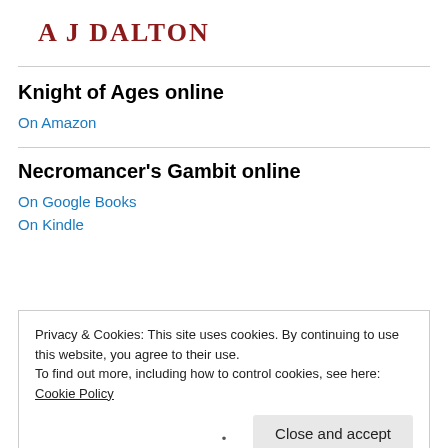A J DALTON
Knight of Ages online
On Amazon
Necromancer's Gambit online
On Google Books
On Kindle
Privacy & Cookies: This site uses cookies. By continuing to use this website, you agree to their use.
To find out more, including how to control cookies, see here: Cookie Policy
Close and accept